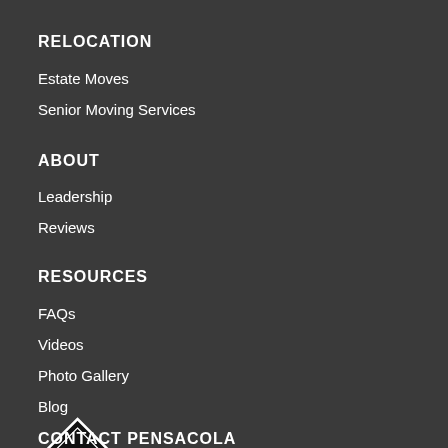RELOCATION
Estate Moves
Senior Moving Services
ABOUT
Leadership
Reviews
RESOURCES
FAQs
Videos
Photo Gallery
Blog
[Figure (logo): HazMat diamond-shaped logo with white border and 'HazMat' text inside]
CONTACT PENSACOLA